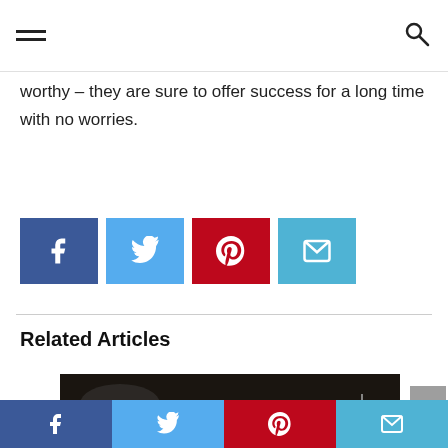[hamburger menu icon] [search icon]
worthy – they are sure to offer success for a long time with no worries.
[Figure (other): Social share buttons: Facebook (blue), Twitter (light blue), Pinterest (red), Email (teal)]
Related Articles
[Figure (photo): Person lying on a mat (appears to be an acupressure/Yantra mat) on a dark floor, reading or writing on paper. Mat is orange/amber colored with text 'YARMED' visible.]
[Figure (other): Bottom social share bar: Facebook, Twitter, Pinterest, Email buttons]
[Figure (other): Scroll-to-top button (grey arrow up)]